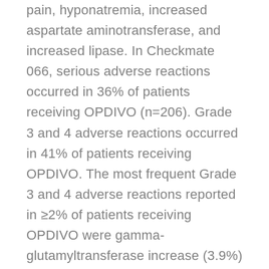pain, hyponatremia, increased aspartate aminotransferase, and increased lipase. In Checkmate 066, serious adverse reactions occurred in 36% of patients receiving OPDIVO (n=206). Grade 3 and 4 adverse reactions occurred in 41% of patients receiving OPDIVO. The most frequent Grade 3 and 4 adverse reactions reported in ≥2% of patients receiving OPDIVO were gamma-glutamyltransferase increase (3.9%) and diarrhea (3.4%). In Checkmate 067, serious adverse reactions (74% and 44%), adverse reactions leading to permanent discontinuation (47% and 18%) or to dosing delays (58% and 36%), and Grade 3 or 4 adverse reactions (72% and 51%) all occurred more frequently in the OPDIVO plus YERVOY arm (n=313) relative to the OPDIVO arm (n=313). The most frequent (≥10%) serious adverse reactions in the OPDIVO plus YERVOY